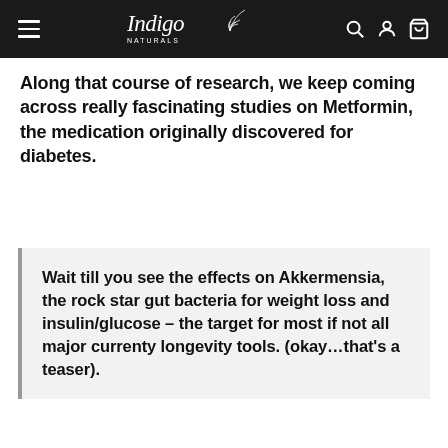Indigo Naturals
Along that course of research, we keep coming across really fascinating studies on Metformin, the medication originally discovered for diabetes.
Wait till you see the effects on Akkermensia, the rock star gut bacteria for weight loss and insulin/glucose – the target for most if not all major currenty longevity tools. (okay…that's a teaser).